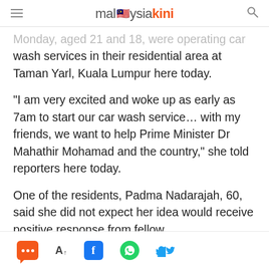malaysiakini
Monday, aged 21 and 18, were operating car wash services in their residential area at Taman Yarl, Kuala Lumpur here today.
“I am very excited and woke up as early as 7am to start our car wash service… with my friends, we want to help Prime Minister Dr Mahathir Mohamad and the country,” she told reporters here today.
One of the residents, Padma Nadarajah, 60, said she did not expect her idea would receive positive response from fellow